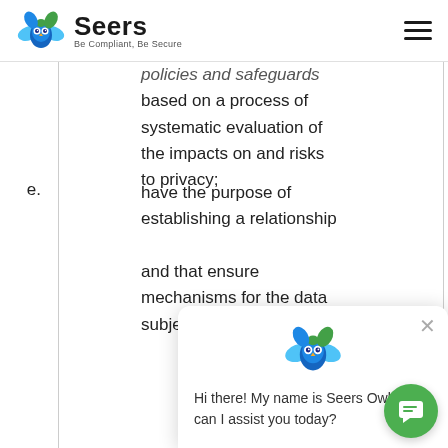Seers — Be Compliant, Be Secure
policies and safeguards based on a process of systematic evaluation of the impacts on and risks to privacy;
e. have the purpose of establishing a relationship and that ensure mechanisms for the data subject to participate;
[Figure (other): Seers Owl chatbot popup with message: Hi there! My name is Seers Owl, how can I assist you today?]
[Figure (other): Green circular chat button with chat icon]